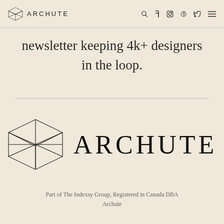ARCHUTE
newsletter keeping 4k+ designers in the loop.
[Figure (logo): Archute geometric box logo with brand name ARCHUTE]
Part of The Indexsy Group, Registered in Canada DBA Archute